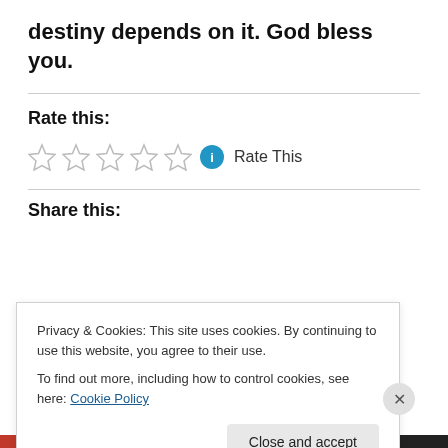destiny depends on it. God bless you.
Rate this:
[Figure (other): Five empty star rating icons with a blue info circle and 'Rate This' text]
Share this:
Privacy & Cookies: This site uses cookies. By continuing to use this website, you agree to their use.
To find out more, including how to control cookies, see here: Cookie Policy